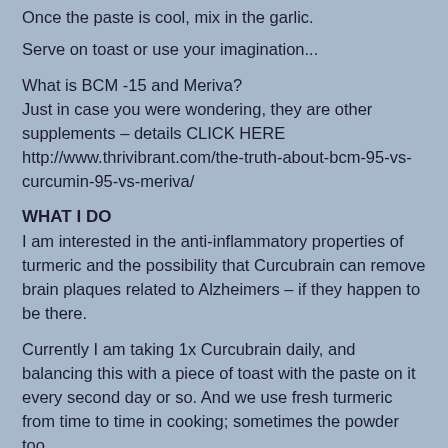Once the paste is cool, mix in the garlic.
Serve on toast or use your imagination...
What is BCM -15 and Meriva?
Just in case you were wondering, they are other supplements – details CLICK HERE http://www.thrivibrant.com/the-truth-about-bcm-95-vs-curcumin-95-vs-meriva/
WHAT I DO
I am interested in the anti-inflammatory properties of turmeric and the possibility that Curcubrain can remove brain plaques related to Alzheimers – if they happen to be there.
Currently I am taking 1x Curcubrain daily, and balancing this with a piece of toast with the paste on it every second day or so. And we use fresh turmeric from time to time in cooking; sometimes the powder too.
GROWING TURMERIC
Turmeric is a tropical plant. Have tried to grow it in our garden, and in pots, but in the Yarra Valley, got some leaves...